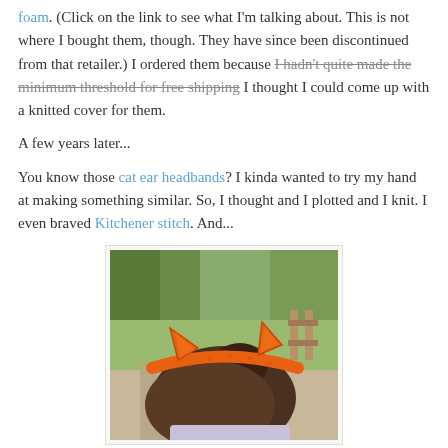foam. (Click on the link to see what I'm talking about. This is not where I bought them, though. They have since been discontinued from that retailer.) I ordered them because [strikethrough: I hadn't quite made the minimum threshold for free shipping] I thought I could come up with a knitted cover for them.
A few years later...
You know those cat ear headbands? I kinda wanted to try my hand at making something similar. So, I thought and I plotted and I knit. I even braved Kitchener stitch. And...
[Figure (photo): Photo of a person wearing an orange knitted cat ear headband, viewed from behind/side. The headband has two small pointed cat ears. Background shows outdoor greenery.]